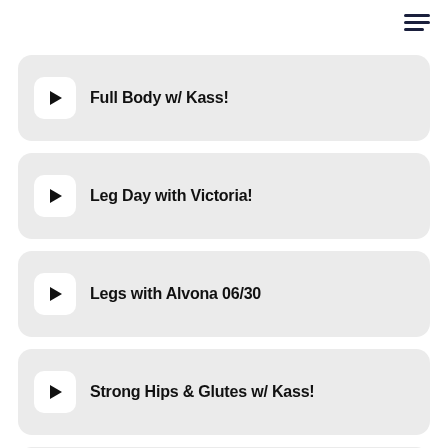Full Body w/ Kass!
Leg Day with Victoria!
Legs with Alvona 06/30
Strong Hips & Glutes w/ Kass!
Chelsea legs